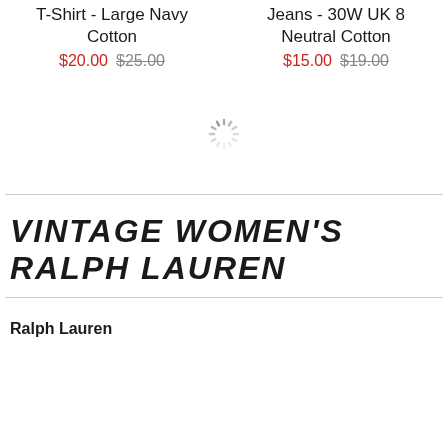T-Shirt - Large Navy Cotton $20.00 $25.00
Jeans - 30W UK 8 Neutral Cotton $15.00 $19.00
[Figure (other): Loading spinner icon in center of page]
VINTAGE WOMEN'S RALPH LAUREN
Ralph Lauren